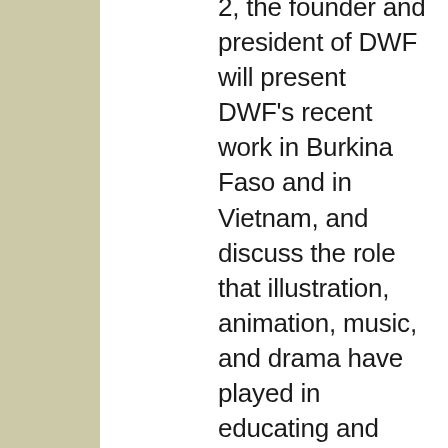2, the founder and president of DWF will present DWF's recent work in Burkina Faso and in Vietnam, and discuss the role that illustration, animation, music, and drama have played in educating and training on the local level.  Please join us in Kellen Auditorium at 4PM